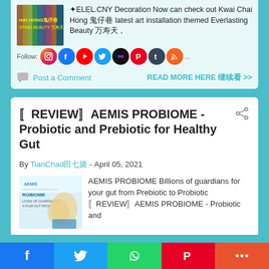[Figure (screenshot): Top section of a blog page showing a post about Kwai Chai Hong art installation with an image thumbnail, social media follow icons (Instagram, Facebook, YouTube, Twitter, Flickr, Pinterest, Tumblr, RSS), and Post a Comment / READ MORE HERE links.]
〚REVIEW〛AEMIS PROBIOME - Probiotic and Prebiotic for Healthy Gut
By TianChad田七摄 - April 05, 2021
AEMIS PROBIOME Billions of guardians for your gut from Prebiotic to Probiotic 〚REVIEW〛AEMIS PROBIOME - Probiotic and
[Figure (screenshot): Thumbnail image of AEMIS PROBIOME product packaging showing ROBIOME label and product imagery.]
f  Twitter  WhatsApp  Pinterest  More